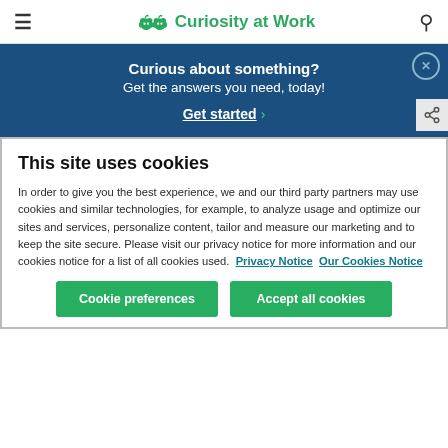≡  Curiosity at Work  🔍
Curious about something?
Get the answers you need, today!
Get started ›
This site uses cookies
In order to give you the best experience, we and our third party partners may use cookies and similar technologies, for example, to analyze usage and optimize our sites and services, personalize content, tailor and measure our marketing and to keep the site secure. Please visit our privacy notice for more information and our cookies notice for a list of all cookies used.  Privacy Notice  Our Cookies Notice
Cookie preferences    Accept all cookies